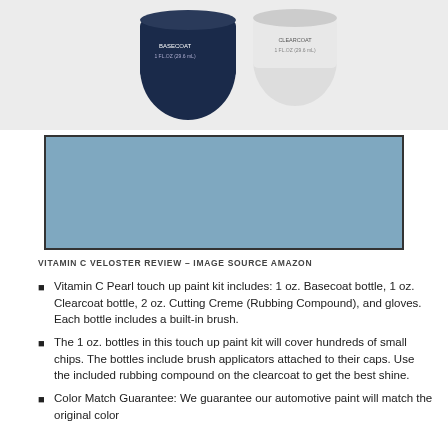[Figure (photo): Top portion of product image showing two paint bottle caps (basecoat and clearcoat), partially cropped]
[Figure (other): Color swatch rectangle filled with a medium steel blue / Vitamin C Pearl paint color, bordered by a dark rectangle outline]
VITAMIN C VELOSTER REVIEW – IMAGE SOURCE AMAZON
Vitamin C Pearl touch up paint kit includes: 1 oz. Basecoat bottle, 1 oz. Clearcoat bottle, 2 oz. Cutting Creme (Rubbing Compound), and gloves. Each bottle includes a built-in brush.
The 1 oz. bottles in this touch up paint kit will cover hundreds of small chips. The bottles include brush applicators attached to their caps. Use the included rubbing compound on the clearcoat to get the best shine.
Color Match Guarantee: We guarantee our automotive paint will match the original color